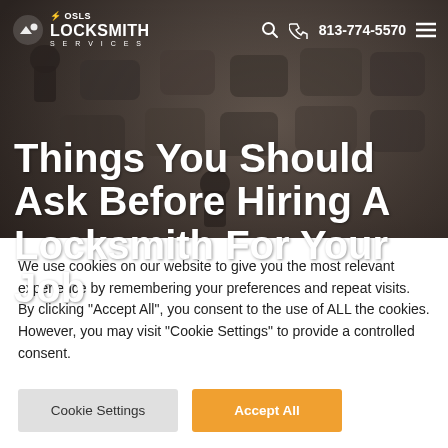[Figure (screenshot): Dark blurred background photo of lock/key mechanism]
SLS Locksmith Services — 813-774-5570
Things You Should Ask Before Hiring A Locksmith For Your Job
We use cookies on our website to give you the most relevant experience by remembering your preferences and repeat visits. By clicking "Accept All", you consent to the use of ALL the cookies. However, you may visit "Cookie Settings" to provide a controlled consent.
Cookie Settings | Accept All